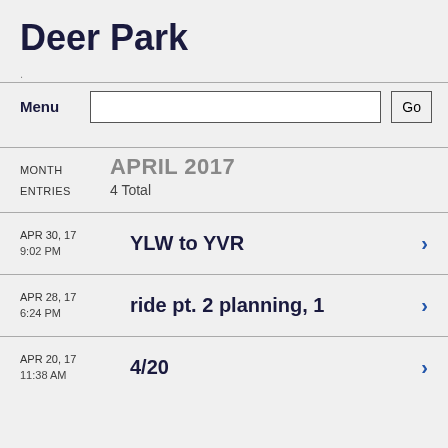Deer Park
.
Menu  Go
MONTH  APRIL 2017
ENTRIES  4 Total
APR 30, 17 9:02 PM  YLW to YVR
APR 28, 17 6:24 PM  ride pt. 2 planning, 1
APR 20, 17 11:38 AM  4/20